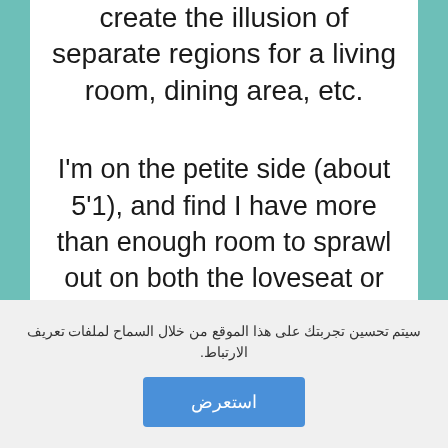create the illusion of separate regions for a living room, dining area, etc.
I'm on the petite side (about 5'1), and find I have more than enough room to sprawl out on both the loveseat or chaise
سيتم تحسين تجربتك على هذا الموقع من خلال السماح لملفات تعريف الارتباط.